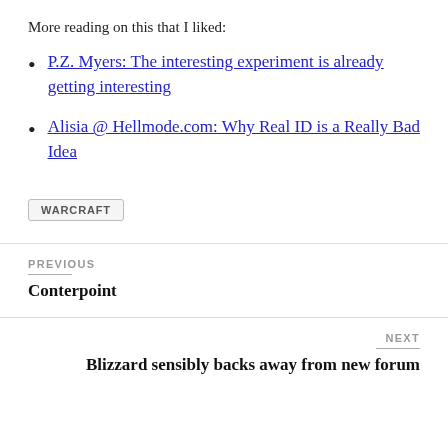More reading on this that I liked:
P.Z. Myers: The interesting experiment is already getting interesting
Alisia @ Hellmode.com: Why Real ID is a Really Bad Idea
WARCRAFT
PREVIOUS
Conterpoint
NEXT
Blizzard sensibly backs away from new forum